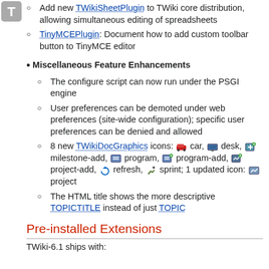Add new TWikiSheetPlugin to TWiki core distribution, allowing simultaneous editing of spreadsheets
TinyMCEPlugin: Document how to add custom toolbar button to TinyMCE editor
Miscellaneous Feature Enhancements
The configure script can now run under the PSGI engine
User preferences can be demoted under web preferences (site-wide configuration); specific user preferences can be denied and allowed
8 new TWikiDocGraphics icons: car, desk, milestone-add, program, program-add, project-add, refresh, sprint; 1 updated icon: project
The HTML title shows the more descriptive TOPICTITLE instead of just TOPIC
Pre-installed Extensions
TWiki-6.1 ships with: